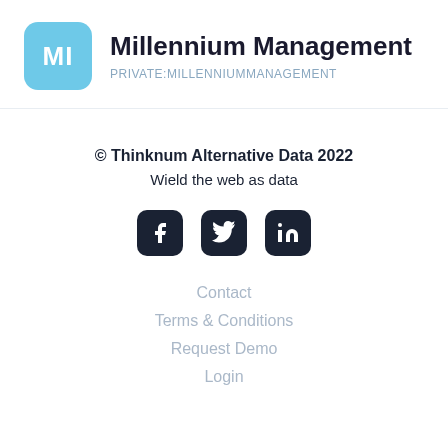[Figure (logo): Light blue rounded square logo with white 'MI' text initials for Millennium Management]
Millennium Management
PRIVATE:MILLENNIUMMANAGEMENT
© Thinknum Alternative Data 2022
Wield the web as data
[Figure (illustration): Social media icons: Facebook, Twitter, LinkedIn in dark rounded square buttons]
Contact
Terms & Conditions
Request Demo
Login